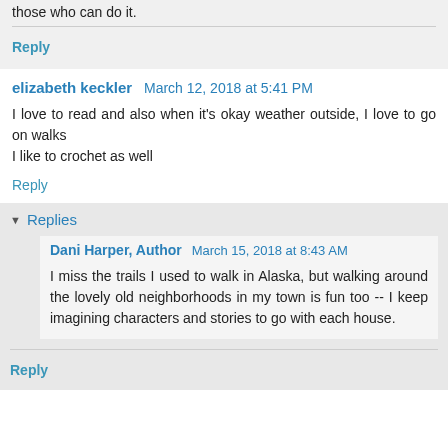those who can do it.
Reply
elizabeth keckler  March 12, 2018 at 5:41 PM
I love to read and also when it's okay weather outside, I love to go on walks
I like to crochet as well
Reply
Replies
Dani Harper, Author  March 15, 2018 at 8:43 AM
I miss the trails I used to walk in Alaska, but walking around the lovely old neighborhoods in my town is fun too -- I keep imagining characters and stories to go with each house.
Reply